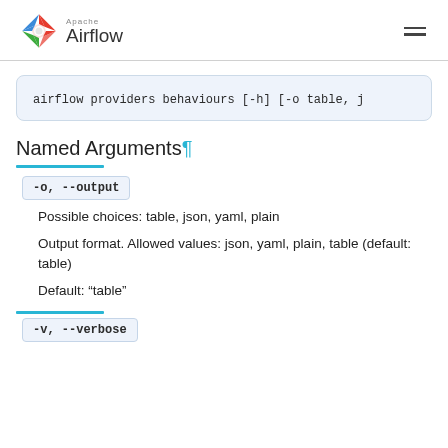Apache Airflow
airflow providers behaviours [-h] [-o table, j…
Named Arguments¶
-o, --output
Possible choices: table, json, yaml, plain
Output format. Allowed values: json, yaml, plain, table (default: table)
Default: "table"
-v, --verbose